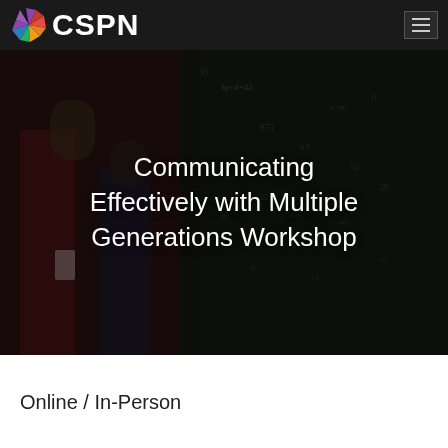CSPN
[Figure (screenshot): Hero banner image showing people communicating/looking at phones overlaid on a chalkboard with math equations, dark overlay, with large white text reading 'Communicating Effectively with Multiple Generations Workshop']
Communicating Effectively with Multiple Generations Workshop
Online / In-Person